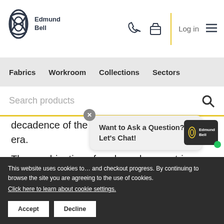Edmund Bell — header with logo, phone icon, basket icon, Log in, hamburger menu
Fabrics | Workroom | Collections | Sectors
Search products
decadence of the glamour around the DECO era.
The combination of scale and geometric pattern in this collection bring infinite new possibilities to classical expressiveness, all
This website uses cookies to... and checkout progress. By continuing to browse the site you are agreeing to the use of cookies. Click here to learn about cookie settings.
Want to Ask a Question? Let's Chat!
Accept
Decline